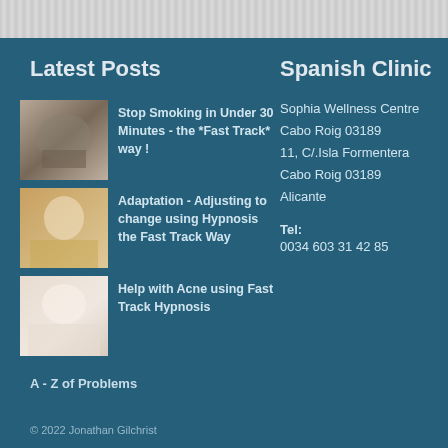Latest Posts
Stop Smoking in Under 30 Minutes - the *Fast Track* way !
Adaptation - Adjusting to change using Hypnosis the Fast Track Way
Help with Acne using Fast Track Hypnosis
A - Z of Problems
Spanish Clinic
Sophia Wellness Centre
Cabo Roig 03189
11, C/.Isla Formentera
Cabo Roig 03189
Alicante
Tel:
0034 603 31 42 85
© 2022 Jonathan Gilchrist